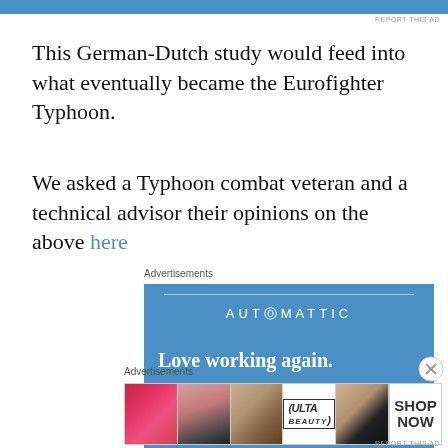[Figure (other): Blue advertisement banner bar at top of page]
REPORT THIS AD
This German-Dutch study would feed into what eventually became the Eurofighter Typhoon.
We asked a Typhoon combat veteran and a technical advisor their opinions on the above here
Advertisements
[Figure (other): Automattic advertisement banner with blue background, text 'AUTOMATTIC', 'Love working again.' and an Apply button]
Advertisements
[Figure (other): Ulta Beauty advertisement strip showing makeup/beauty images including lips, brush, eye, Ulta logo, face, and SHOP NOW button]